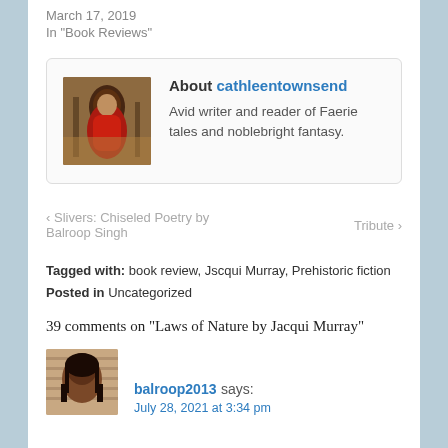March 17, 2019
In "Book Reviews"
[Figure (photo): Author avatar: figure in red cloak in forest scene]
About cathleentownsend
Avid writer and reader of Faerie tales and noblebright fantasy.
‹ Slivers: Chiseled Poetry by Balroop Singh   Tribute ›
Tagged with: book review, Jscqui Murray, Prehistoric fiction
Posted in Uncategorized
39 comments on “Laws of Nature by Jacqui Murray”
[Figure (photo): Commenter avatar photo of balroop2013]
balroop2013 says:
July 28, 2021 at 3:34 pm